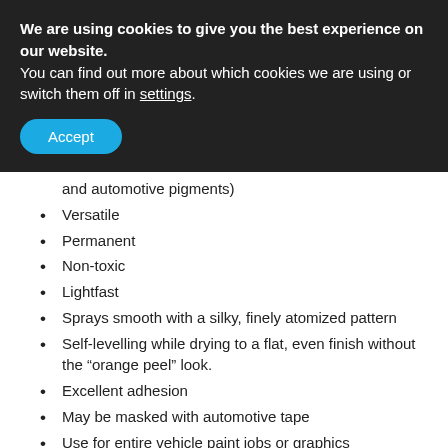We are using cookies to give you the best experience on our website.
You can find out more about which cookies we are using or switch them off in settings.
Accept
and automotive pigments)
Versatile
Permanent
Non-toxic
Lightfast
Sprays smooth with a silky, finely atomized pattern
Self-levelling while drying to a flat, even finish without the “orange peel” look.
Excellent adhesion
May be masked with automotive tape
Use for entire vehicle paint jobs or graphics
Intermixable to allow limitless colour blends and effects
Made with automotive specific pigments and binders
Ready-to-spray out of the bottle – no mixing required
Fully compatible with any automotive urethane clears, paints and primers